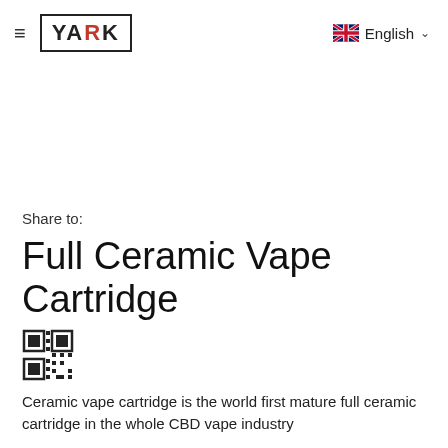≡ YARK  English
Share to:
Full Ceramic Vape Cartridge
[Figure (other): QR code for sharing the product page]
Ceramic vape cartridge is the world first mature full ceramic cartridge in the whole CBD vape industry